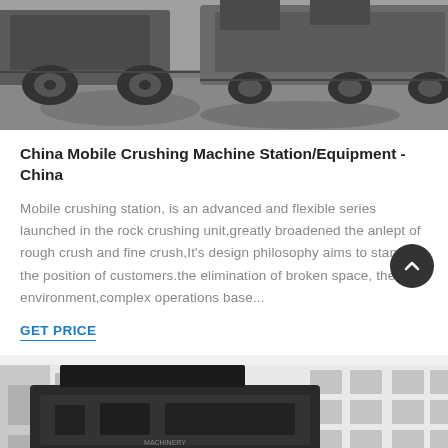[Figure (photo): Partial view of a mobile crushing machine/equipment on a concrete surface, showing the undercarriage and wheels of the machinery from a low angle.]
China Mobile Crushing Machine Station/Equipment - China
Mobile crushing station, is an advanced and flexible series launched in the rock crushing unit,greatly broadened the anlept of rough crush and fine crush,It's design philosophy aims to stand in the position of customers.the elimination of broken space, the environment,complex operations base...
GET PRICE
[Figure (photo): Bottom partial view of another mobile crushing machine parked in front of a white industrial building with windows, showing the black crusher body and white chassis.]